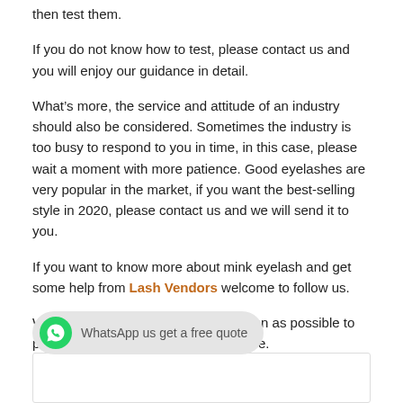then test them.
If you do not know how to test, please contact us and you will enjoy our guidance in detail.
What’s more, the service and attitude of an industry should also be considered. Sometimes the industry is too busy to respond to you in time, in this case, please wait a moment with more patience. Good eyelashes are very popular in the market, if you want the best-selling style in 2020, please contact us and we will send it to you.
If you want to know more about mink eyelash and get some help from Lash Vendors welcome to follow us.
We will update blogs and news as soon as possible to provide you with authoritative expertise.
[Figure (other): WhatsApp call-to-action banner: green WhatsApp icon with text 'WhatsApp us get a free quote']
[Figure (other): Comment/input box at the bottom of the page]